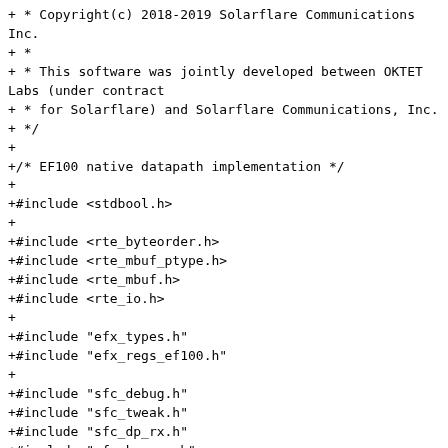+ * Copyright(c) 2018-2019 Solarflare Communications Inc.
+ *
+ * This software was jointly developed between OKTET Labs (under contract
+ * for Solarflare) and Solarflare Communications, Inc.
+ */
+
+/* EF100 native datapath implementation */
+
+#include <stdbool.h>
+
+#include <rte_byteorder.h>
+#include <rte_mbuf_ptype.h>
+#include <rte_mbuf.h>
+#include <rte_io.h>
+
+#include "efx_types.h"
+#include "efx_regs_ef100.h"
+
+#include "sfc_debug.h"
+#include "sfc_tweak.h"
+#include "sfc_dp_rx.h"
+#include "sfc_kvargs.h"
+#include "sfc_ef100.h"
+
+
+#define sfc_ef100_rx_err(_rxq, ...) \
+        SFC_DP_LOG(SFC_KVARG_DATAPATH_EF100, ERR, &(_rxq)->dp.dpq, __VA_ARGS__)